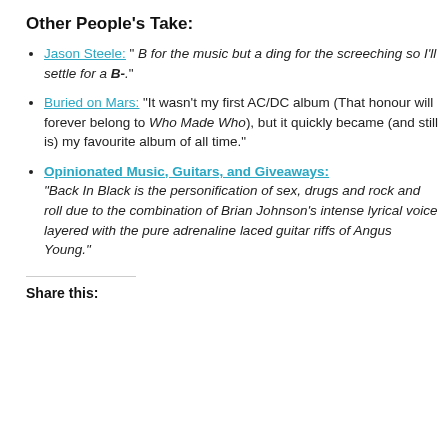Other People's Take:
Jason Steele: " B for the music but a ding for the screeching so I'll settle for a B-."
Buried on Mars: "It wasn't my first AC/DC album (That honour will forever belong to Who Made Who), but it quickly became (and still is) my favourite album of all time."
Opinionated Music, Guitars, and Giveaways: "Back In Black is the personification of sex, drugs and rock and roll due to the combination of Brian Johnson's intense lyrical voice layered with the pure adrenaline laced guitar riffs of Angus Young."
Share this: